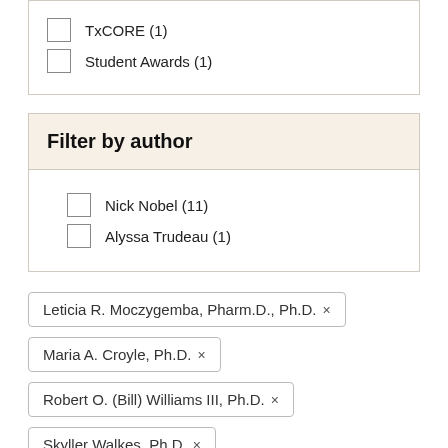TxCORE (1)
Student Awards (1)
Filter by author
Nick Nobel (11)
Alyssa Trudeau (1)
Leticia R. Moczygemba, Pharm.D., Ph.D. ×
Maria A. Croyle, Ph.D. ×
Robert O. (Bill) Williams III, Ph.D. ×
Skyller Walkes, Ph.D. ×